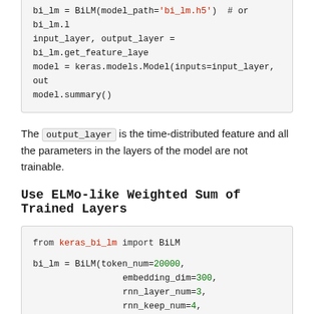[Figure (other): Code block (cropped top) showing bi_lm = BiLM(model_path='bi_lm.h5'), input_layer/output_layer assignment, keras.models.Model creation, model.summary()]
The output_layer is the time-distributed feature and all the parameters in the layers of the model are not trainable.
Use ELMo-like Weighted Sum of Trained Layers
[Figure (other): Code block showing: from keras_bi_lm import BiLM, bi_lm = BiLM(token_num=20000, embedding_dim=300, rnn_layer_num=3, rnn_keep_num=4, rnn_units=300, rnn_type='lstm', use_normalization=True), # ...]